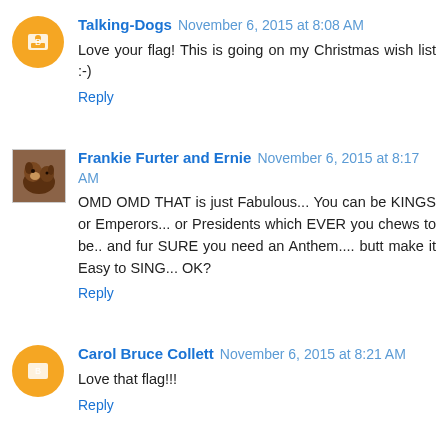Talking-Dogs November 6, 2015 at 8:08 AM
Love your flag! This is going on my Christmas wish list :-)
Reply
Frankie Furter and Ernie November 6, 2015 at 8:17 AM
OMD OMD THAT is just Fabulous... You can be KINGS or Emperors... or Presidents which EVER you chews to be.. and fur SURE you need an Anthem.... butt make it Easy to SING... OK?
Reply
Carol Bruce Collett November 6, 2015 at 8:21 AM
Love that flag!!!
Reply